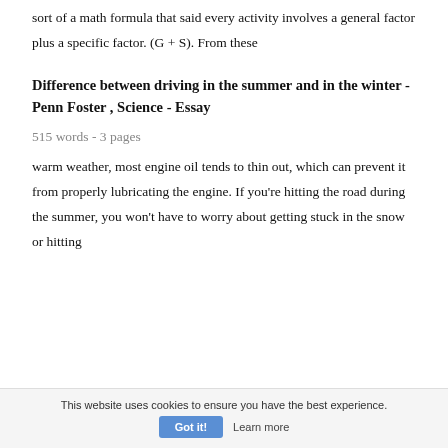sort of a math formula that said every activity involves a general factor plus a specific factor. (G + S). From these
Difference between driving in the summer and in the winter - Penn Foster , Science - Essay
515 words - 3 pages
warm weather, most engine oil tends to thin out, which can prevent it from properly lubricating the engine. If you're hitting the road during the summer, you won't have to worry about getting stuck in the snow or hitting
This website uses cookies to ensure you have the best experience.